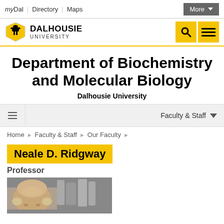myDal | Directory | Maps | More
[Figure (logo): Dalhousie University logo with black eagle shield and wordmark]
Department of Biochemistry and Molecular Biology
Dalhousie University
Faculty & Staff
Home > Faculty & Staff > Our Faculty
Neale D. Ridgway
Professor
[Figure (photo): Headshot photo of Neale D. Ridgway in a laboratory setting]